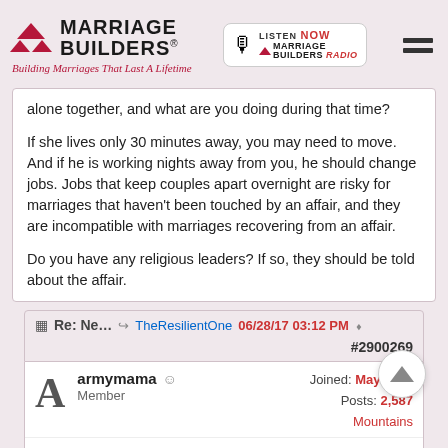Marriage Builders® — Building Marriages That Last A Lifetime
alone together, and what are you doing during that time?

If she lives only 30 minutes away, you may need to move. And if he is working nights away from you, he should change jobs. Jobs that keep couples apart overnight are risky for marriages that haven't been touched by an affair, and they are incompatible with marriages recovering from an affair.

Do you have any religious leaders? If so, they should be told about the affair.
Re: Ne... TheResilientOne 06/28/17 03:12 PM #2900269
armymama
Member
Joined: May 2008
Posts: 2,587
Mountains
Since she is military, expose the affair to her command structure